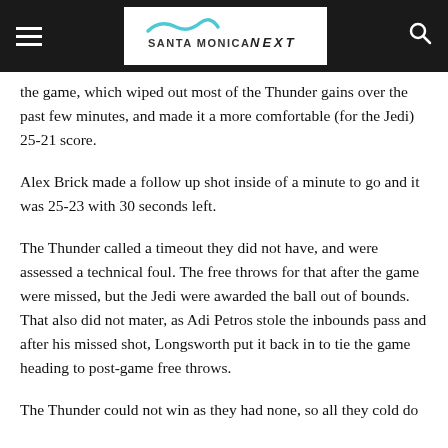Santa Monica Next
the game, which wiped out most of the Thunder gains over the past few minutes, and made it a more comfortable (for the Jedi) 25-21 score.
Alex Brick made a follow up shot inside of a minute to go and it was 25-23 with 30 seconds left.
The Thunder called a timeout they did not have, and were assessed a technical foul. The free throws for that after the game were missed, but the Jedi were awarded the ball out of bounds. That also did not mater, as Adi Petros stole the inbounds pass and after his missed shot, Longsworth put it back in to tie the game heading to post-game free throws.
The Thunder could not win as they had none, so all they cold do